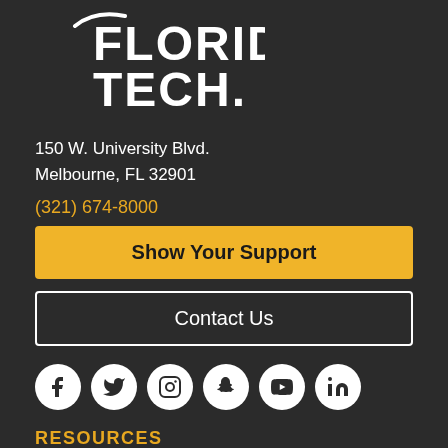[Figure (logo): Florida Tech university logo with swoosh and bold white text on dark background]
150 W. University Blvd.
Melbourne, FL 32901
(321) 674-8000
Show Your Support
Contact Us
[Figure (infographic): Row of 6 social media icons: Facebook, Twitter, Instagram, Snapchat, YouTube, LinkedIn — all white circles on dark background]
RESOURCES
Academic Calendar